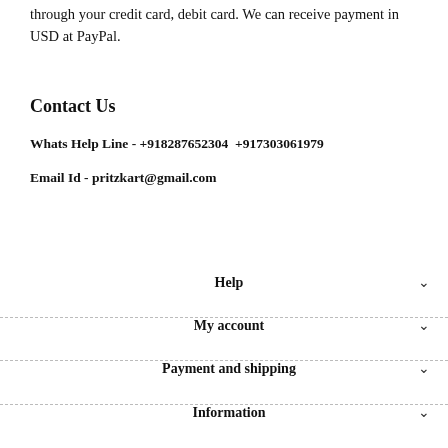through your credit card, debit card. We can receive payment in USD at PayPal.
Contact Us
Whats Help Line - +918287652304  +917303061979
Email Id - pritzkart@gmail.com
Help
My account
Payment and shipping
Information